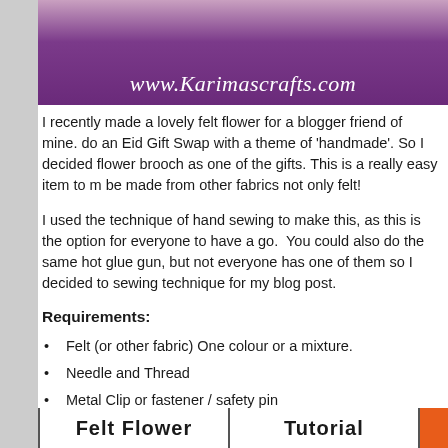[Figure (photo): Purple fabric/clothing background with www.Karimascrafts.com URL text overlay in white italic]
I recently made a lovely felt flower for a blogger friend of mine. do an Eid Gift Swap with a theme of 'handmade'. So I decided flower brooch as one of the gifts. This is a really easy item to m be made from other fabrics not only felt!
I used the technique of hand sewing to make this, as this is the option for everyone to have a go. You could also do the same hot glue gun, but not everyone has one of them so I decided to sewing technique for my blog post.
Requirements:
Felt (or other fabric) One colour or a mixture.
Needle and Thread
Metal Clip or fastener / safety pin
(Glue Gun - optional)
[Figure (illustration): Bottom banner showing 'Felt Flower Tutorial' text in bold with orange/color accent]